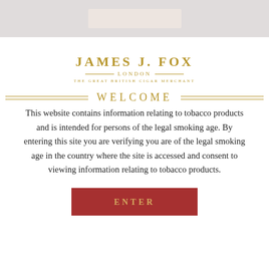[Figure (other): Top navigation bar / header area with gray background and lighter center block]
JAMES J. FOX
LONDON
THE GREAT BRITISH CIGAR MERCHANT
WELCOME
This website contains information relating to tobacco products and is intended for persons of the legal smoking age. By entering this site you are verifying you are of the legal smoking age in the country where the site is accessed and consent to viewing information relating to tobacco products.
ENTER